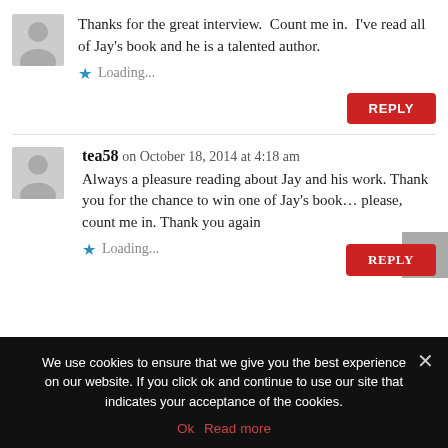Thanks for the great interview.  Count me in.  I've read all of Jay's book and he is a talented author.
Loading...
REPLY
tea58 on October 18, 2014 at 4:18 am
Always a pleasure reading about Jay and his work. Thank you for the chance to win one of Jay's book… please, count me in. Thank you again
Loading...
REPLY
We use cookies to ensure that we give you the best experience on our website. If you click ok and continue to use our site that indicates your acceptance of the cookies.
Ok   Read more